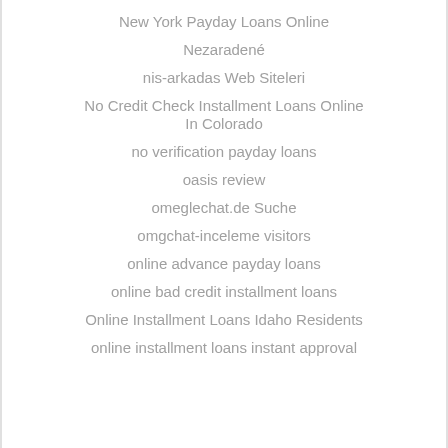New York Payday Loans Online
Nezaradené
nis-arkadas Web Siteleri
No Credit Check Installment Loans Online In Colorado
no verification payday loans
oasis review
omeglechat.de Suche
omgchat-inceleme visitors
online advance payday loans
online bad credit installment loans
Online Installment Loans Idaho Residents
online installment loans instant approval